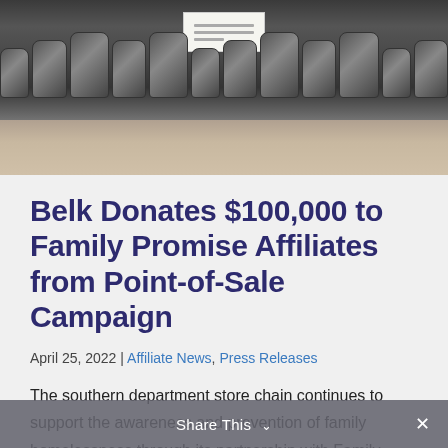[Figure (photo): Rows of gray duffel bags lined up on a floor, with a sign/banner visible in the background center.]
Belk Donates $100,000 to Family Promise Affiliates from Point-of-Sale Campaign
April 25, 2022 | Affiliate News, Press Releases
The southern department store chain continues to support the awareness and prevention of family homelessness through its partnership with Family Promise. CHARLOTTE,